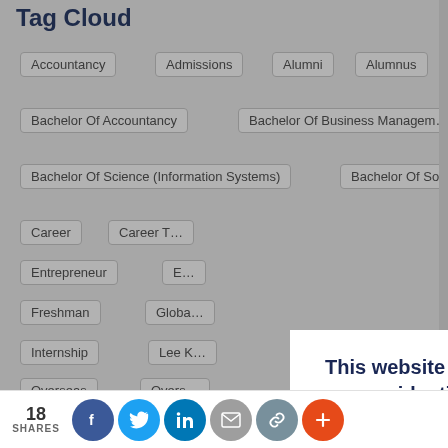Tag Cloud
Accountancy
Admissions
Alumni
Alumnus
Bachelor Of Accountancy
Bachelor Of Business Management
Bachelor Of Science (Information Systems)
Bachelor Of Social Science
Career
Career T…
Entrepreneur
E…
Freshman
Globa…
Internship
Lee K…
Overseas
Overs…
Research
School…
School Of Informatio…
Singapore Managem…
This website uses cookies as well as similar tools and technologies to identify, understand and improve visitors' experiences. By continuing without changing your cookie settings, we assume that you agree to this. Otherwise, you may change the cookie setting in your browser. To find out more, please visit our cookies policy.
CLOSE
18 SHARES